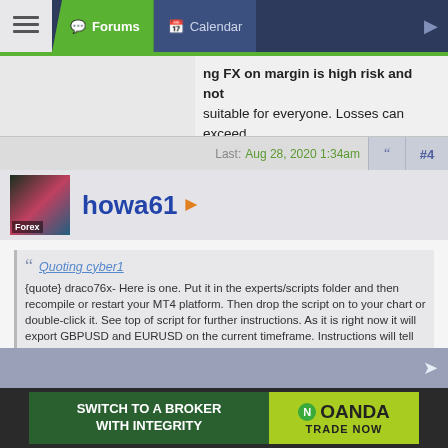Forums  Calendar
ng FX on margin is high risk and not suitable for everyone. Losses can exceed investments.
Last: Aug 28, 2020 1:34am  #4
howa61
Quoting cyber1
{quote} draco76x- Here is one. Put it in the experts/scripts folder and then recompile or restart your MT4 platform. Then drop the script on to your chart or double-click it. See top of script for further instructions. As it is right now it will export GBPUSD and EURUSD on the current timeframe. Instructions will tell you how to add additional pairs. {file}
Hello and thanks...
[Figure (other): OANDA broker advertisement banner: 'SWITCH TO A BROKER WITH INTEGRITY' on dark green left, OANDA logo with 'TRADE NOW' on lime green right]